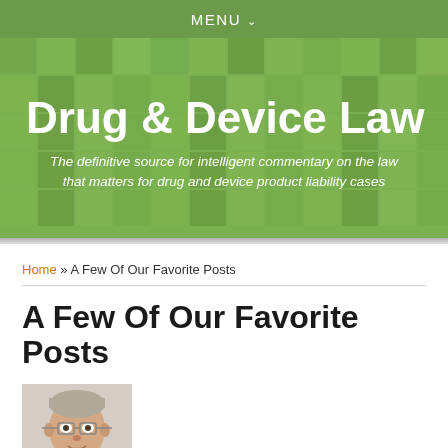MENU
Drug & Device Law
The definitive source for intelligent commentary on the law that matters for drug and device product liability cases
Home » A Few Of Our Favorite Posts
A Few Of Our Favorite Posts
[Figure (photo): Headshot photo of an older man with glasses, grey hair, wearing a suit, against a light background]